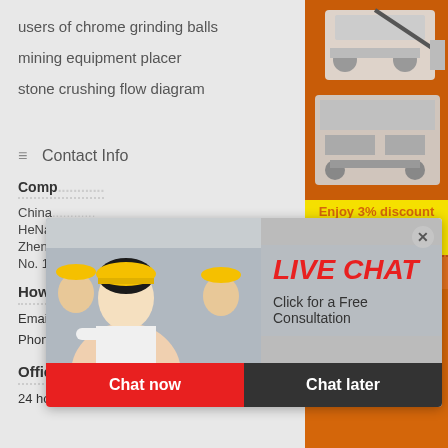users of chrome grinding balls
mining equipment placer
stone crushing flow diagram
Contact Info
Company Name: China HeNan Zhengzhou No. 1...
How To Contact Us
Email: limingjlmofen@sina.com
Phone: +86 (0371)8654 9132
Office Hours
24 hours at your service
[Figure (photo): Orange sidebar with mining machinery images, discount banner saying Enjoy 3% discount / Click to Chat, Enquiry button, and limingjlmofen@sina.com contact]
[Figure (screenshot): Live chat popup overlay showing workers in hard hats, LIVE CHAT heading in red italic, Click for a Free Consultation text, Chat now (red) and Chat later (dark) buttons, and a close X button]